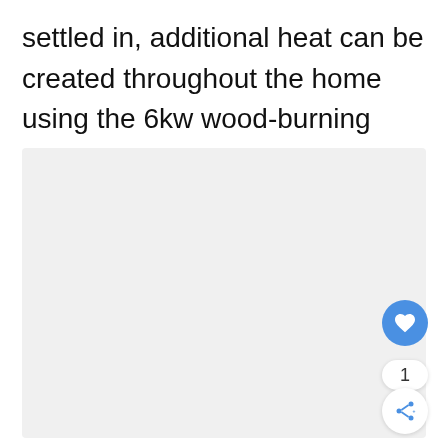settled in, additional heat can be created throughout the home using the 6kw wood-burning stove.
[Figure (photo): Light grey rectangular placeholder area representing a property photo]